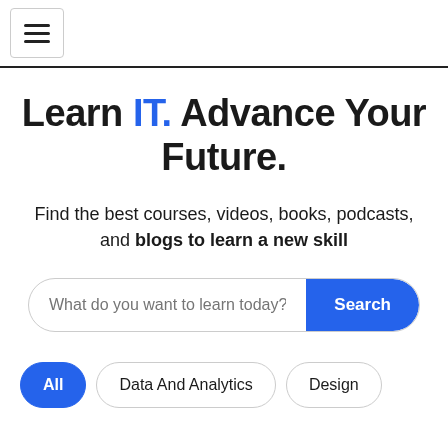Navigation menu (hamburger icon)
Learn IT. Advance Your Future.
Find the best courses, videos, books, podcasts, and blogs to learn a new skill
What do you want to learn today? Search
All
Data And Analytics
Design